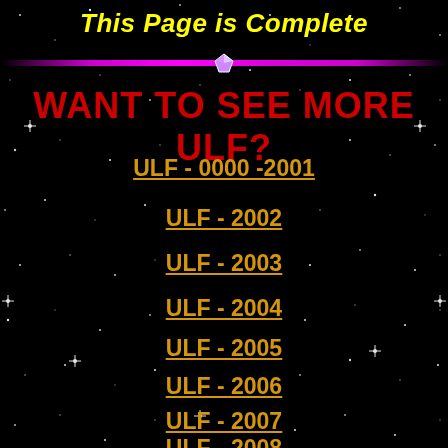This Page is Complete
WANT TO SEE MORE ULF?
ULF - 0000 -2001
ULF - 2002
ULF - 2003
ULF - 2004
ULF - 2005
ULF - 2006
ULF - 2007
ULF - 2008